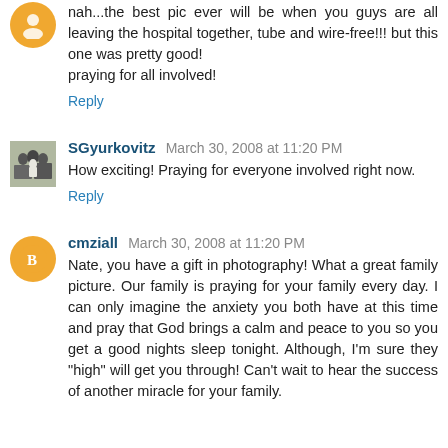nah...the best pic ever will be when you guys are all leaving the hospital together, tube and wire-free!!! but this one was pretty good!
praying for all involved!
Reply
SGyurkovitz March 30, 2008 at 11:20 PM
How exciting! Praying for everyone involved right now.
Reply
cmziall March 30, 2008 at 11:20 PM
Nate, you have a gift in photography! What a great family picture. Our family is praying for your family every day. I can only imagine the anxiety you both have at this time and pray that God brings a calm and peace to you so you get a good nights sleep tonight. Although, I'm sure they "high" will get you through! Can't wait to hear the success of another miracle for your family.